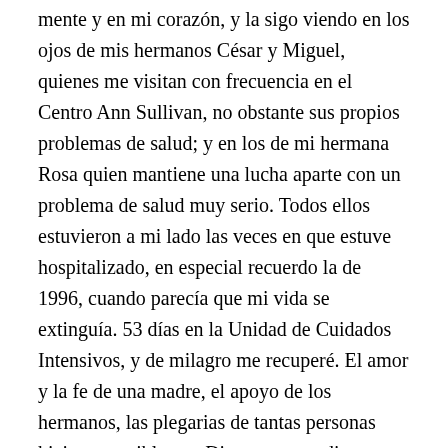mente y en mi corazón, y la sigo viendo en los ojos de mis hermanos César y Miguel, quienes me visitan con frecuencia en el Centro Ann Sullivan, no obstante sus propios problemas de salud; y en los de mi hermana Rosa quien mantiene una lucha aparte con un problema de salud muy serio. Todos ellos estuvieron a mi lado las veces en que estuve hospitalizado, en especial recuerdo la de 1996, cuando parecía que mi vida se extinguía. 53 días en la Unidad de Cuidados Intensivos, y de milagro me recuperé. El amor y la fe de una madre, el apoyo de los hermanos, las plegarias de tantas personas hicieron posible que Dios me concediera un tiempo de vida adicional.  Ellos, mis cuidadores principales, ya no están en edad ni tienen fuerzas para cuidar de su hermano, pero están y estarán conmigo hasta que el